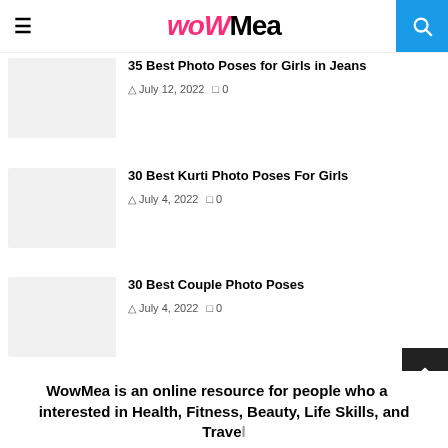woWMea
35 Best Photo Poses for Girls in Jeans
July 12, 2022  0
30 Best Kurti Photo Poses For Girls
July 4, 2022  0
30 Best Couple Photo Poses
July 4, 2022  0
WowMea is an online resource for people who are interested in Health, Fitness, Beauty, Life Skills, and Travel